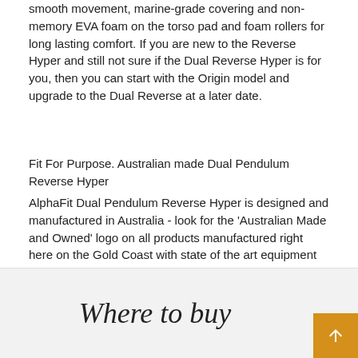smooth movement, marine-grade covering and non-memory EVA foam on the torso pad and foam rollers for long lasting comfort. If you are new to the Reverse Hyper and still not sure if the Dual Reverse Hyper is for you, then you can start with the Origin model and upgrade to the Dual Reverse at a later date.
Fit For Purpose. Australian made Dual Pendulum Reverse Hyper
AlphaFit Dual Pendulum Reverse Hyper is designed and manufactured in Australia - look for the ‘Australian Made and Owned’ logo on all products manufactured right here on the Gold Coast with state of the art equipment and the latest 3D modeling software to ensure our products are fit for purpose and the best available.
Our Australian made products are available in a variety of 13 colours. For custom colours not listed, email admin@alphafit.com.au.
Where to buy